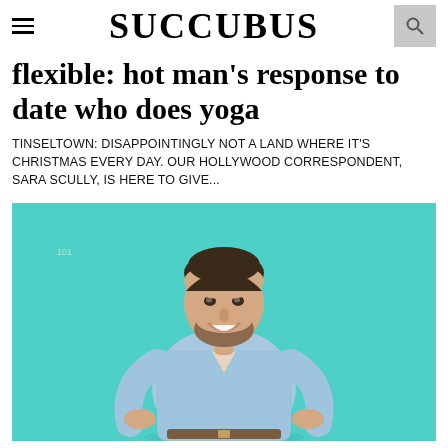SUCCUBUS
flexible: hot man's response to date who does yoga
TINSELTOWN: DISAPPOINTINGLY NOT A LAND WHERE IT'S CHRISTMAS EVERY DAY. OUR HOLLYWOOD CORRESPONDENT, SARA SCULLY, IS HERE TO GIVE...
[Figure (photo): A smiling man with a beard wearing a light blue checked button-up shirt, standing with hands on hips against a teal/turquoise background.]